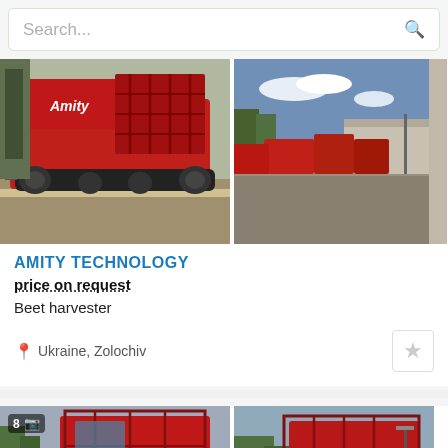[Figure (screenshot): Search bar with placeholder text 'Search...' and search icon]
[Figure (photo): Two agricultural machine photos side by side: left shows red Amity beet harvester on gravel, right shows machinery yard with red equipment]
AMITY TECHNOLOGY
price on request
Beet harvester
Ukraine, Zolochiv
[Figure (photo): Two agricultural machine photos side by side: left shows red beet harvester cab front with badge showing 8 photos, right shows red beet harvester side view with trees]